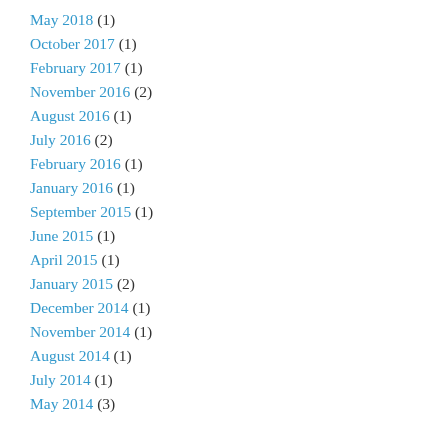May 2018 (1)
October 2017 (1)
February 2017 (1)
November 2016 (2)
August 2016 (1)
July 2016 (2)
February 2016 (1)
January 2016 (1)
September 2015 (1)
June 2015 (1)
April 2015 (1)
January 2015 (2)
December 2014 (1)
November 2014 (1)
August 2014 (1)
July 2014 (1)
May 2014 (3)